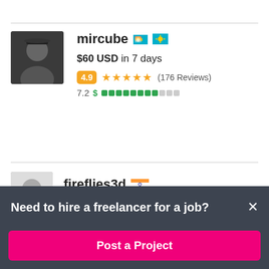[Figure (photo): Profile photo of freelancer mircube - person with hat in dark clothing]
mircube 🇰🇿
$60 USD in 7 days
4.9 ★★★★★ (176 Reviews)
7.2 $ ▓▓▓▓▓▓▓▓░░░
[Figure (photo): Profile photo of freelancer fireflies3d - person with glasses]
fireflies3d 🇮🇳
Need to hire a freelancer for a job?
Post a Project